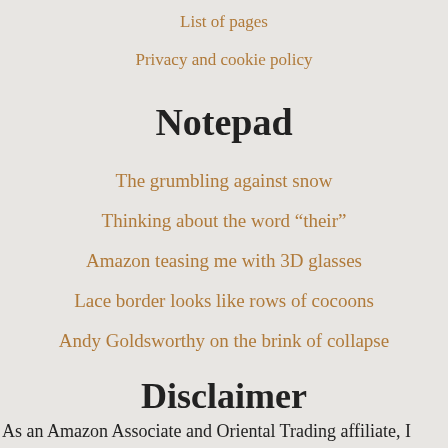List of pages
Privacy and cookie policy
Notepad
The grumbling against snow
Thinking about the word “their”
Amazon teasing me with 3D glasses
Lace border looks like rows of cocoons
Andy Goldsworthy on the brink of collapse
Disclaimer
As an Amazon Associate and Oriental Trading affiliate, I earn from qualifying purchases. Thank you for helping pay